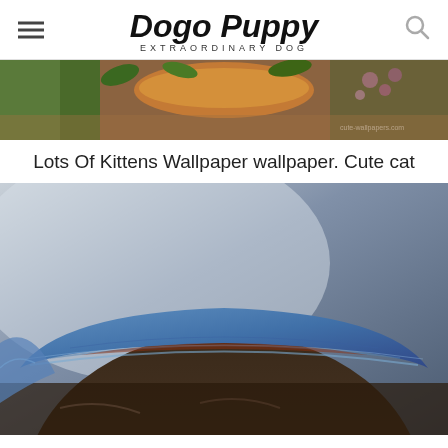Dogo Puppy EXTRAORDINARY DOG
[Figure (photo): Cropped top portion of a photo showing kittens with flowers and a bowl, warm tones with pink flowers visible]
Lots Of Kittens Wallpaper wallpaper. Cute cat
[Figure (photo): Close-up photo of a puppy or small animal wearing a blue denim hat or covering, with blurred grayish-blue background]